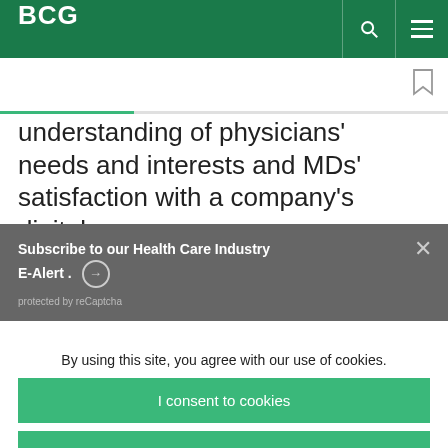BCG
understanding of physicians' needs and interests and MDs' satisfaction with a company's digital
Subscribe to our Health Care Industry E-Alert. protected by reCaptcha
By using this site, you agree with our use of cookies.
I consent to cookies
Want to know more?
Read our Cookie Policy